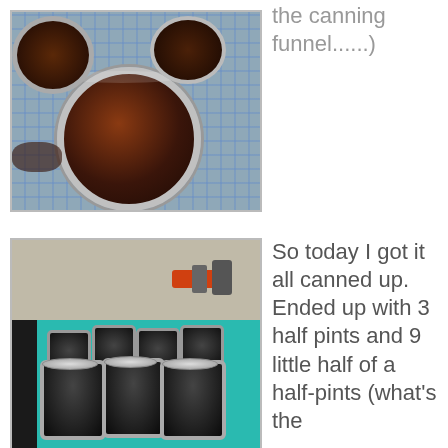[Figure (photo): Top-down view of dark jam/preserve-filled mason jars on a blue checkered cloth]
the canning funnel......)
[Figure (photo): Multiple small canning jars filled with dark preserve, arranged on a teal towel near a stove/counter]
So today I got it all canned up. Ended up with 3 half pints and 9 little half of a half-pints (what's the